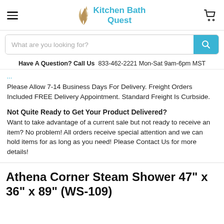Kitchen Bath Quest
What are you looking for?
Have A Question? Call Us  833-462-2221 Mon-Sat 9am-6pm MST
Please Allow 7-14 Business Days For Delivery. Freight Orders Included FREE Delivery Appointment. Standard Freight Is Curbside.
Not Quite Ready to Get Your Product Delivered?
Want to take advantage of a current sale but not ready to receive an item? No problem! All orders receive special attention and we can hold items for as long as you need! Please Contact Us for more details!
Athena Corner Steam Shower 47" x 36" x 89" (WS-109)